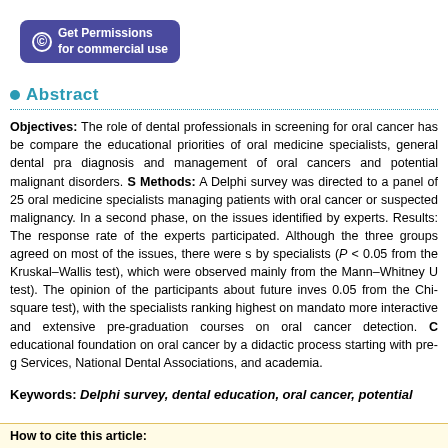[Figure (other): Blue-purple rounded button with copyright icon reading 'Get Permissions for commercial use']
Abstract
Objectives: The role of dental professionals in screening for oral cancer has be... compare the educational priorities of oral medicine specialists, general dental pra... diagnosis and management of oral cancers and potential malignant disorders. S... Methods: A Delphi survey was directed to a panel of 25 oral medicine specialists ... managing patients with oral cancer or suspected malignancy. In a second phase, ... on the issues identified by experts. Results: The response rate of the experts ... participated. Although the three groups agreed on most of the issues, there were s... by specialists (P < 0.05 from the Kruskal–Wallis test), which were observed mainly... from the Mann–Whitney U test). The opinion of the participants about future inves... 0.05 from the Chi-square test), with the specialists ranking highest on mandato... more interactive and extensive pre-graduation courses on oral cancer detection. C... educational foundation on oral cancer by a didactic process starting with pre-g... Services, National Dental Associations, and academia.
Keywords: Delphi survey, dental education, oral cancer, potential
How to cite this article: